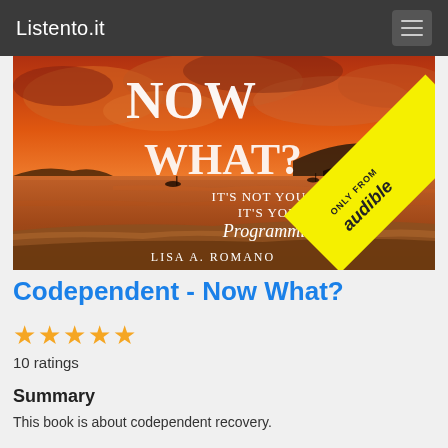Listento.it
[Figure (photo): Book cover for 'Codependent - Now What? It's Not You — It's Your Programming' by Lisa A. Romano, with an Audible-only badge. Shows a sunset beach scene with orange sky, waves, and silhouetted hills. Title text 'NOW WHAT?' in large serif font, subtitle 'IT'S NOT YOU,— IT'S YOUR Programming' in mixed fonts, author name 'LISA A. ROMANO', and yellow diagonal 'ONLY FROM audible' banner.]
Codependent - Now What?
10 ratings
Summary
This book is about codependent recovery.